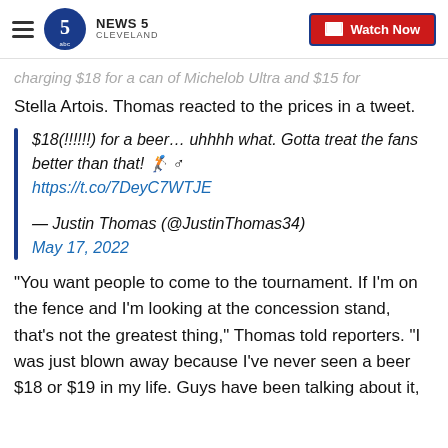News 5 Cleveland | Watch Now
charging $18 for a can of Michelob Ultra and $15 for Stella Artois. Thomas reacted to the prices in a tweet.
$18(!!!!!!) for a beer… uhhhh what. Gotta treat the fans better than that! 🏌️♂️ https://t.co/7DeyC7WTJE

— Justin Thomas (@JustinThomas34)
May 17, 2022
“You want people to come to the tournament. If I'm on the fence and I'm looking at the concession stand, that's not the greatest thing,” Thomas told reporters. “I was just blown away because I've never seen a beer $18 or $19 in my life. Guys have been talking about it,